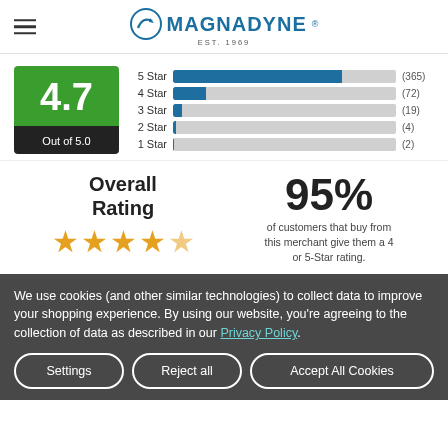MAGNADYNE EST. 1969
[Figure (bar-chart): Star Rating Distribution]
4.7 Out of 5.0
Overall Rating ★★★★½
95% of customers that buy from this merchant give them a 4 or 5-Star rating.
We use cookies (and other similar technologies) to collect data to improve your shopping experience. By using our website, you're agreeing to the collection of data as described in our Privacy Policy.
Settings | Reject all | Accept All Cookies